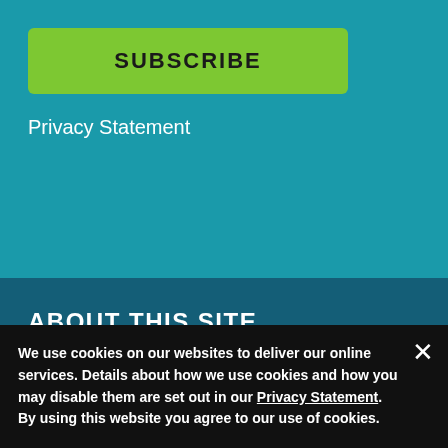SUBSCRIBE
Privacy Statement
ABOUT THIS SITE
The opinions expressed on this website are those of each author, not of the author's employer or of Red Hat.
Opensource.com aspires to publish all content under a Creative Commons license but may not be able to do so in all cases. You are responsible for ensuring that you have the necessary permission to reuse any work on this site.
We use cookies on our websites to deliver our online services. Details about how we use cookies and how you may disable them are set out in our Privacy Statement. By using this website you agree to our use of cookies.